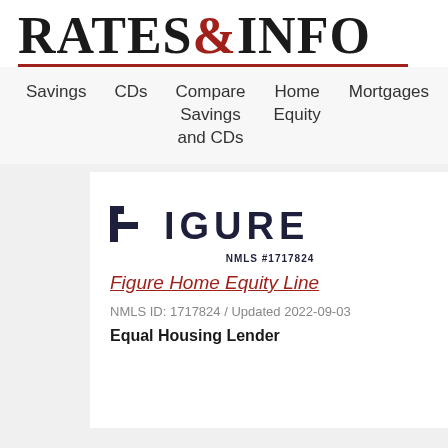RATES&INFO
Savings   CDs   Compare Savings and CDs   Home Equity   Mortgages   Loan
[Figure (logo): FIGURE logo with NMLS #1717824]
Figure Home Equity Line
NMLS ID: 1717824 / Updated 2022-09-03
Equal Housing Lender
FIXED rates APR*. HELO Funding as